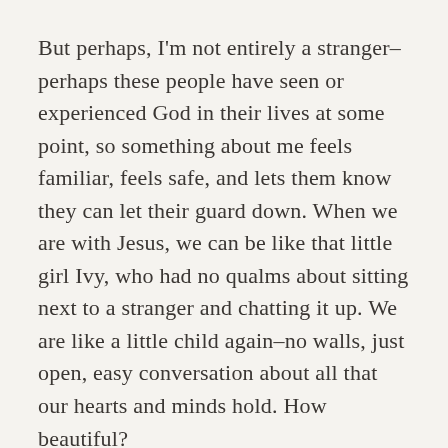But perhaps, I'm not entirely a stranger–perhaps these people have seen or experienced God in their lives at some point, so something about me feels familiar, feels safe, and lets them know they can let their guard down. When we are with Jesus, we can be like that little girl Ivy, who had no qualms about sitting next to a stranger and chatting it up. We are like a little child again–no walls, just open, easy conversation about all that our hearts and minds hold. How beautiful?
I don't know what your relationship with Christ looks like, or if you have one at all, but I hope this story shows you a glimpse of the kind of relationship he wants with you. He knows everything about you, yet he loves when you trust